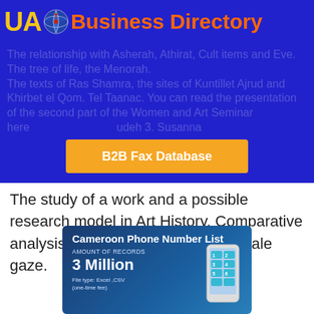UA Business Directory
The relationship with Asherah, Athirat, Cult items and Eve. The tree of life, the Menorah. The texts of Ras Shamra, the sites of Kuntillet Ajrud and Khirbet el Qom. Tel Taanac. You can read the presentation of the second part of the Women and Art Seminar here B2B Fax Database Judeh 3. Susanna and the Elders of Artemisia Gentileschi The study of a work and a possible research model in Art History. Comparative analysis between the male and female gaze.
[Figure (infographic): Cameroon Phone Number List promotional infographic showing Amount of Records: 3 Million, File type: Excel, CSV, with a hand holding a smartphone]